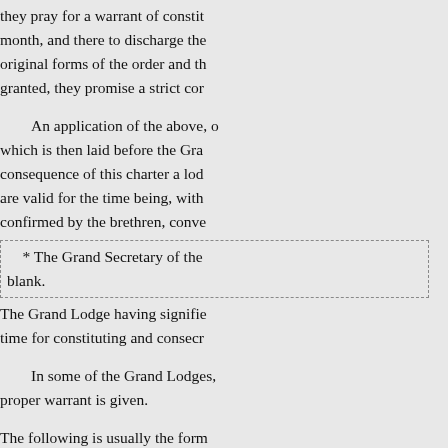they pray for a warrant of constitution to meet every month, and there to discharge their duties in the original forms of the order and the usages thereof: if granted, they promise a strict con
An application of the above, on paper, is drawn up, which is then laid before the Grand Lodge; and in consequence of this charter a lodge is formed, who are valid for the time being, with their elections confirmed by the brethren, conve
* The Grand Secretary of the blank.
The Grand Lodge having signified time for constituting and consecr
In some of the Grand Lodges, proper warrant is given.
The following is usually the form
Sir and Brother, (or as the case the Masonic fraternity, and repos you to form and constitute a lodge a Grand Lodge, held on ; and of Master, and our beloved brethre